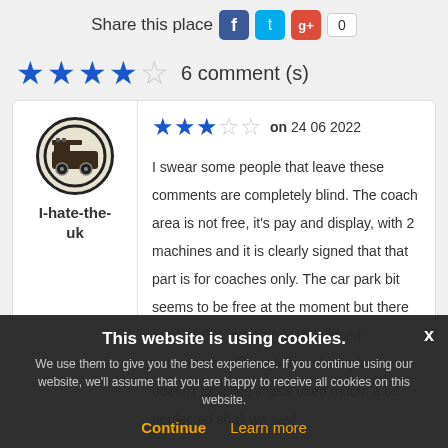Share this place 0
6 comment (s)
on 24 06 2022
I swear some people that leave these comments are completely blind. The coach area is not free, it's pay and display, with 2 machines and it is clearly signed that that part is for coaches only. The car park bit seems to be free at the moment but there are barriers, which may be closed sometimes, although the whole place doesn't look like it gets used much, a bit neglected shall we say!
I-hate-the-uk
This website is using cookies.
We use them to give you the best experience. If you continue using our website, we'll assume that you are happy to receive all cookies on this website.
Continue   Learn more